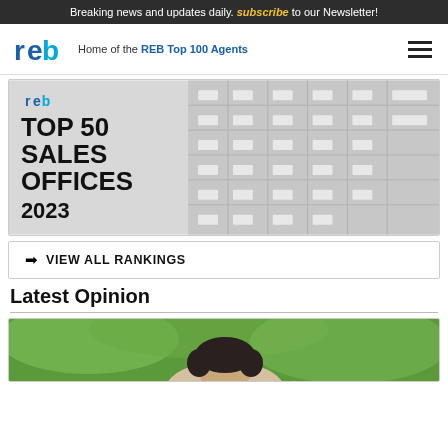Breaking news and updates daily. subscribe to our Newsletter!
[Figure (logo): REB logo with navigation bar: 'Home of the REB Top 100 Agents' and hamburger menu icon]
[Figure (illustration): REB Top 50 Sales Offices 2023 promotional banner with building background]
➜  VIEW ALL RANKINGS
Latest Opinion
[Figure (photo): Partial photo of a person with dark hair against a green outdoor background]